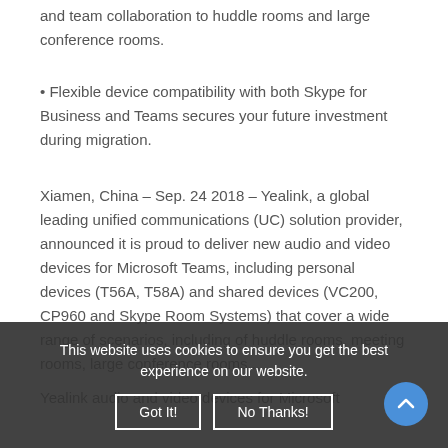and team collaboration to huddle rooms and large conference rooms.
• Flexible device compatibility with both Skype for Business and Teams secures your future investment during migration.
Xiamen, China – Sep. 24 2018 – Yealink, a global leading unified communications (UC) solution provider, announced it is proud to deliver new audio and video devices for Microsoft Teams, including personal devices (T56A, T58A) and shared devices (VC200, CP960 and Skype Room Systems) that cover a wide range of scenarios, including of huddle rooms, meeting rooms, large conference rooms...
Yealink audio and video devices for Microsoft
This website uses cookies to ensure you get the best experience on our website.